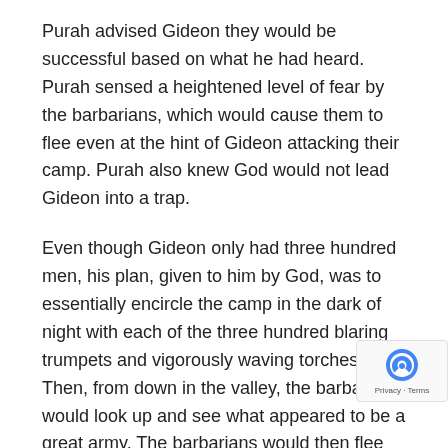Purah advised Gideon they would be successful based on what he had heard. Purah sensed a heightened level of fear by the barbarians, which would cause them to flee even at the hint of Gideon attacking their camp. Purah also knew God would not lead Gideon into a trap.
Even though Gideon only had three hundred men, his plan, given to him by God, was to essentially encircle the camp in the dark of night with each of the three hundred blaring trumpets and vigorously waving torches. Then, from down in the valley, the barbarians would look up and see what appeared to be a great army. The barbarians would then flee out of fear from hearing the noise and seeing the spectacle of lighted torches.